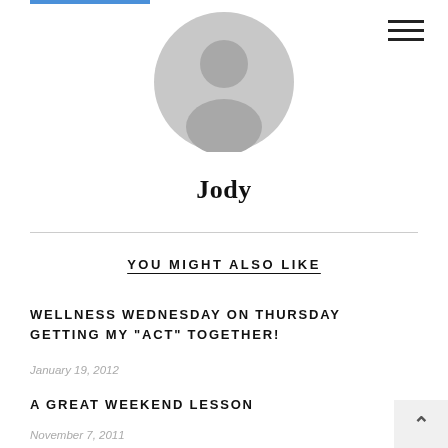[Figure (illustration): Generic user avatar placeholder: a grey circle with a silhouette of a person (head and shoulders) in slightly darker grey, centered at the top of the page]
Jody
YOU MIGHT ALSO LIKE
WELLNESS WEDNESDAY ON THURSDAY GETTING MY "ACT" TOGETHER!
January 19, 2012
A GREAT WEEKEND LESSON
November 7, 2011